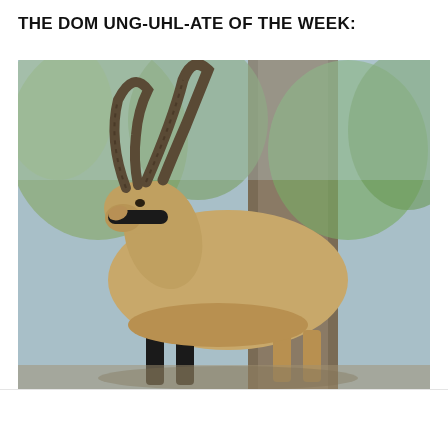THE DOM UNG-UHL-ATE OF THE WEEK:
[Figure (photo): A large ibex (mountain goat) with large curved horns, wearing a black sweatband around its head and black leg warmers/socks on its front legs, standing in front of trees. A humorous sports-themed animal meme photo.]
[Figure (logo): A circular sports team logo with a black and gold eagle/hawk design on a dark background.]
[Figure (other): Twitter bird icon in cyan/blue and Facebook 'f' icon in cyan/blue, social media share buttons.]